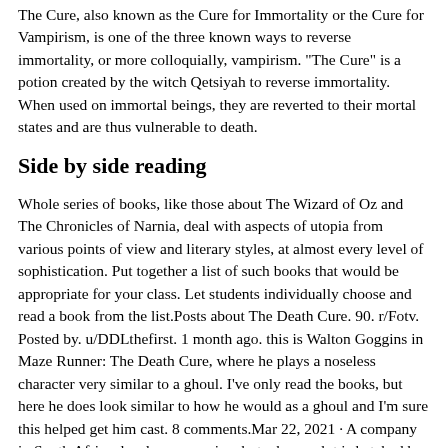The Cure, also known as the Cure for Immortality or the Cure for Vampirism, is one of the three known ways to reverse immortality, or more colloquially, vampirism. "The Cure" is a potion created by the witch Qetsiyah to reverse immortality. When used on immortal beings, they are reverted to their mortal states and are thus vulnerable to death.
Side by side reading
Whole series of books, like those about The Wizard of Oz and The Chronicles of Narnia, deal with aspects of utopia from various points of view and literary styles, at almost every level of sophistication. Put together a list of such books that would be appropriate for your class. Let students individually choose and read a book from the list.Posts about The Death Cure. 90. r/Fotv. Posted by. u/DDLthefirst. 1 month ago. this is Walton Goggins in Maze Runner: The Death Cure, where he plays a noseless character very similar to a ghoul. I've only read the books, but here he does look similar to how he would as a ghoul and I'm sure this helped get him cast. 8 comments.Mar 22, 2021 · A company in South Africa develops a vaccine, but when a plot is hatched by a Group of Six Old World European Families to change the vaccine and cripple the continent, Africa is on the brink of another catastrophe. "The Cure" is a work of biological and environmental activism, one of